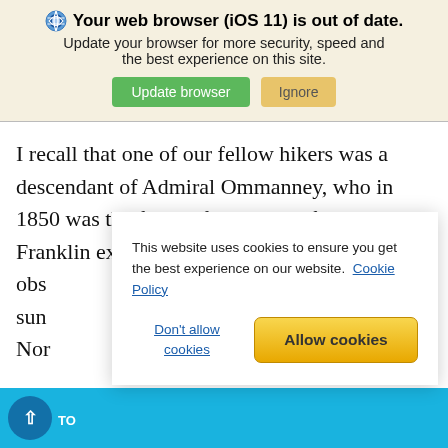Your web browser (iOS 11) is out of date. Update your browser for more security, speed and the best experience on this site.
I recall that one of our fellow hikers was a descendant of Admiral Ommanney, who in 1850 was the first to find traces of the missing Franklin expedition. We all obs[…] sun[…] Nor[…] long[…]
This website uses cookies to ensure you get the best experience on our website. Cookie Policy
Don't allow cookies
Allow cookies